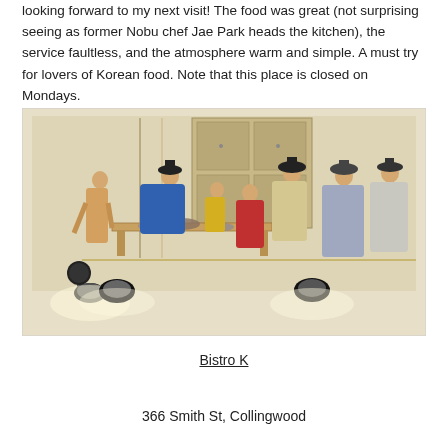looking forward to my next visit! The food was great (not surprising seeing as former Nobu chef Jae Park heads the kitchen), the service faultless, and the atmosphere warm and simple. A must try for lovers of Korean food. Note that this place is closed on Mondays.
[Figure (photo): A Korean traditional mural painting on a restaurant wall showing figures in traditional Korean hanbok clothing gathered around a low table with food. Two black pendant lamps are visible on either side of the mural, illuminating the scene with warm light.]
Bistro K
366 Smith St, Collingwood